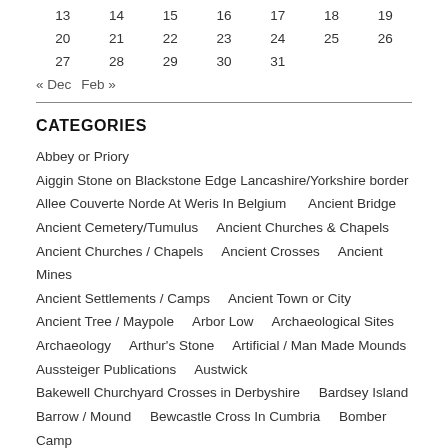| 13 | 14 | 15 | 16 | 17 | 18 | 19 |
| 20 | 21 | 22 | 23 | 24 | 25 | 26 |
| 27 | 28 | 29 | 30 | 31 |  |  |
« Dec   Feb »
CATEGORIES
Abbey or Priory
Aiggin Stone on Blackstone Edge Lancashire/Yorkshire border
Allee Couverte Norde At Weris In Belgium    Ancient Bridge
Ancient Cemetery/Tumulus    Ancient Churches & Chapels
Ancient Churches / Chapels    Ancient Crosses    Ancient Mines
Ancient Settlements / Camps    Ancient Town or City
Ancient Tree / Maypole    Arbor Low    Archaeological Sites
Archaeology    Arthur's Stone    Artificial / Man Made Mounds
Aussteiger Publications    Austwick
Bakewell Churchyard Crosses in Derbyshire    Bardsey Island
Barrow / Mound    Bewcastle Cross In Cumbria    Bomber Camp
Barrow Field Barrow East At Addlebridge In Sandvise...